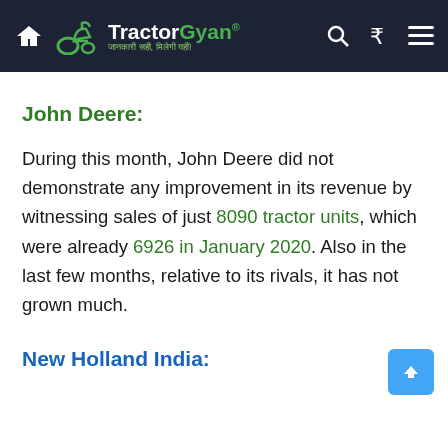TractorGyan
John Deere:
During this month, John Deere did not demonstrate any improvement in its revenue by witnessing sales of just 8090 tractor units, which were already 6926 in January 2020. Also in the last few months, relative to its rivals, it has not grown much.
New Holland India: